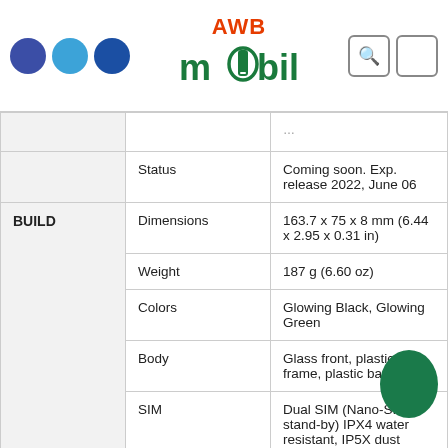[Figure (logo): AWB Mobile logo with three colored dots on left and search/menu icons on right]
| Category | Spec | Value |
| --- | --- | --- |
|  |  | (partially visible) |
|  | Status | Coming soon. Exp. release 2022, June 06 |
| BUILD | Dimensions | 163.7 x 75 x 8 mm (6.44 x 2.95 x 0.31 in) |
|  | Weight | 187 g (6.60 oz) |
|  | Colors | Glowing Black, Glowing Green |
|  | Body | Glass front, plastic frame, plastic back |
|  | SIM | Dual SIM (Nano-SIM, stand-by) IPX4 water resistant, IP5X dust |